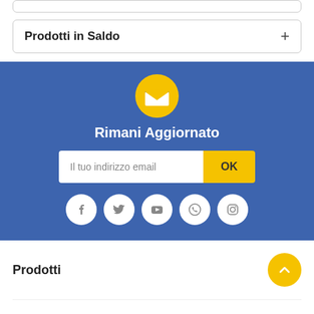Prodotti in Saldo
[Figure (infographic): Blue newsletter signup section with yellow envelope icon, 'Rimani Aggiornato' heading, email input field with OK button, and social media icons (Facebook, Twitter, YouTube, WhatsApp, Instagram)]
Prodotti
La nostra azienda